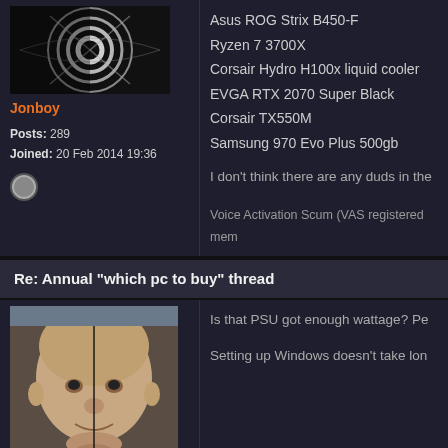[Figure (photo): Avatar image with swirling pattern, black and white]
Jonboy
Posts: 289
Joined: 20 Feb 2014 19:36
Asus ROG Strix B450-F
Ryzen 7 3700X
Corsair Hydro H100x liquid cooler
EVGA RTX 2070 Super Black
Corsair TX550M
Samsung 970 Evo Plus 500gb
I don't think there are any duds in the
Voice Activation Scum (VAS registered mem
Re: Annual "which pc to buy" thread
[Figure (photo): Photo of bald man making a face, with a vertical line through center]
Loui5D
Battle Galaxy of Doom
Posts: 664
Is that PSU got enough wattage? Pe
Setting up Windows doesn't take lon